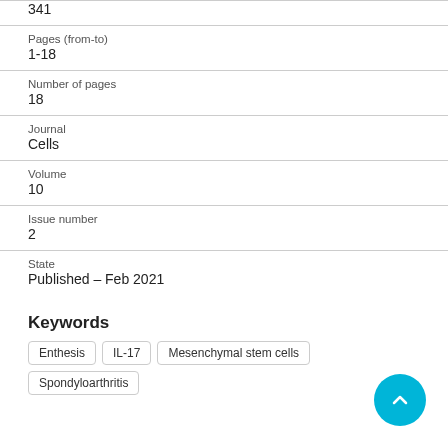| 341 |
| Pages (from-to) | 1-18 |
| Number of pages | 18 |
| Journal | Cells |
| Volume | 10 |
| Issue number | 2 |
| State | Published – Feb 2021 |
Keywords
Enthesis
IL-17
Mesenchymal stem cells
Spondyloarthritis